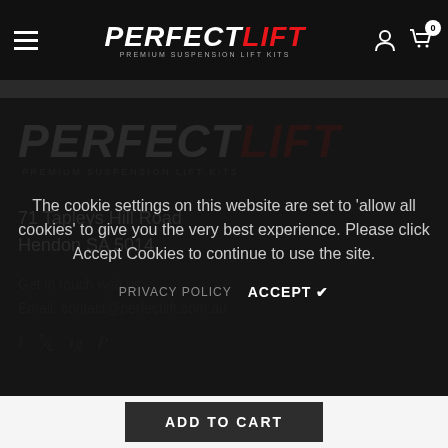PERFECT LIFT - PREMIUM SUSPENSION LIFT KITS - Navigation bar with hamburger menu, logo, user and cart icons
[Figure (logo): Perfect Lift logo - PERFECT in white italic bold, LIFT in red italic bold, tagline PREMIUM SUSPENSION LIFT KITS in grey]
71 Tapleys Hill Road
Hendon SA 5014
The cookie settings on this website are set to 'allow all cookies' to give you the very best experience. Please click Accept Cookies to continue to use the site.
PRIVACY POLICY   ACCEPT ✔
ADD TO CART